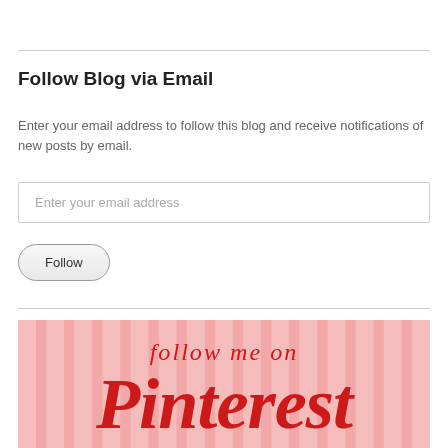Follow Blog via Email
Enter your email address to follow this blog and receive notifications of new posts by email.
Enter your email address
Follow
[Figure (illustration): Pink and white striped background with text 'follow me on Pinterest' in red cursive and bold lettering]